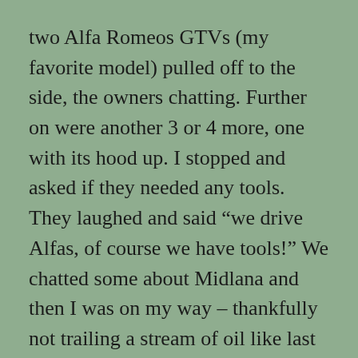two Alfa Romeos GTVs (my favorite model) pulled off to the side, the owners chatting. Further on were another 3 or 4 more, one with its hood up. I stopped and asked if they needed any tools. They laughed and said “we drive Alfas, of course we have tools!” We chatted some about Midlana and then I was on my way – thankfully not trailing a stream of oil like last week!
With the muffler working so well, new sounds are detectable now, and unfortunately, one sounds like engine knock under full boost. What’s unclear is whether it’s always been there and I couldn’t hear it, or if the (assumed) added back pressure from the muffler caused it. I’ll log a drive to see what’s going on; maybe it’s just something that